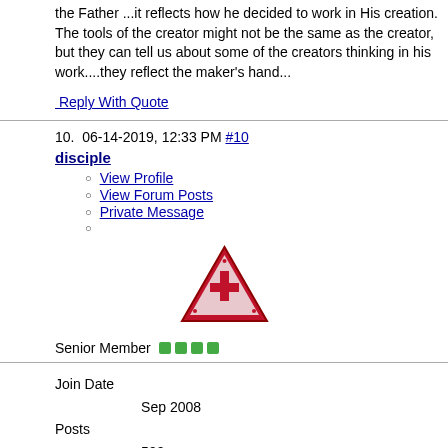the Father ...it reflects how he decided to work in His creation.
The tools of the creator might not be the same as the creator, but they can tell us about some of the creators thinking in his work....they reflect the maker's hand...
Reply With Quote
10. 06-14-2019, 12:33 PM #10
disciple
View Profile
View Forum Posts
Private Message
[Figure (illustration): A red inverted triangle (yield sign shape) with a cross symbol inside, on a white/light background with a dark red border]
Senior Member ● ● ● ●
Join Date
    Sep 2008
Posts
    590